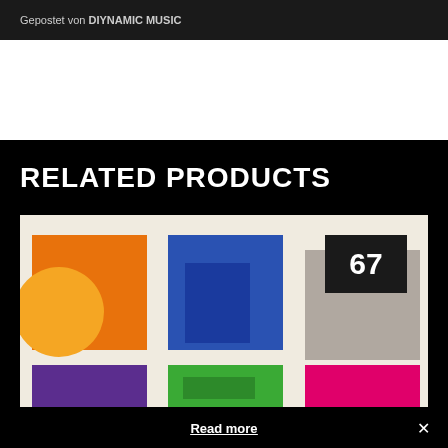Gepostet von DIYNAMIC MUSIC
RELATED PRODUCTS
[Figure (photo): Grid of colored album cover squares: orange with circle, blue, gray with '67' badge, purple, green, pink/magenta]
Read more